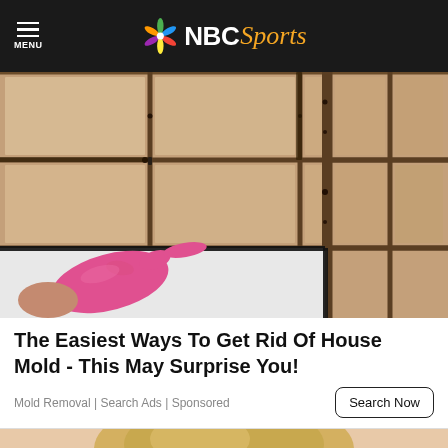NBC Sports
[Figure (photo): Pink rubber glove pointing at black mold along bathtub caulking and tile grout in a bathroom corner]
The Easiest Ways To Get Rid Of House Mold - This May Surprise You!
Mold Removal | Search Ads | Sponsored
[Figure (photo): Partial view of a blonde woman's head, bottom portion of page]